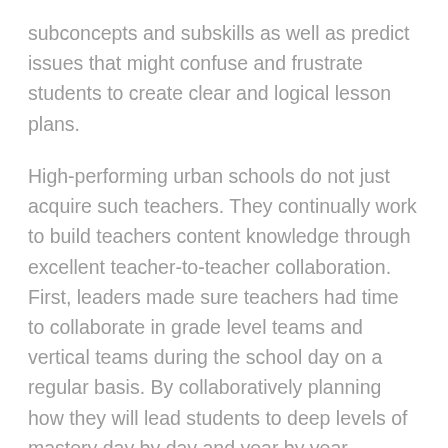subconcepts and subskills as well as predict issues that might confuse and frustrate students to create clear and logical lesson plans.
High-performing urban schools do not just acquire such teachers. They continually work to build teachers content knowledge through excellent teacher-to-teacher collaboration. First, leaders made sure teachers had time to collaborate in grade level teams and vertical teams during the school day on a regular basis. By collaboratively planning how they will lead students to deep levels of mastery day by day and year by year, leaders believed teachers would collectively build their own content mastery. Depending on how many teachers taught a grade level or